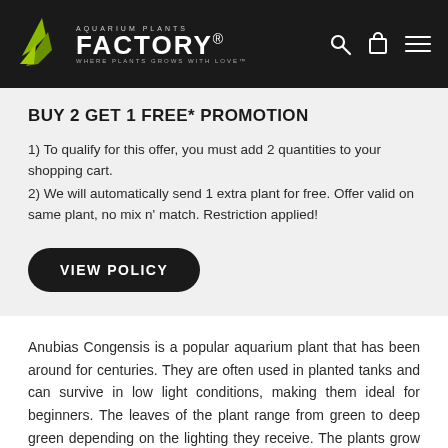AQUARIUM PLANTS FACTORY. WHERE PLANTS GROWS WITH LOVE™
BUY 2 GET 1 FREE* PROMOTION
1) To qualify for this offer, you must add 2 quantities to your shopping cart.
2) We will automatically send 1 extra plant for free. Offer valid on same plant, no mix n' match. Restriction applied!
[Figure (other): VIEW POLICY button — black rounded rectangle button with white uppercase text]
Anubias Congensis is a popular aquarium plant that has been around for centuries. They are often used in planted tanks and can survive in low light conditions, making them ideal for beginners. The leaves of the plant range from green to deep green depending on the lighting they receive. The plants grow best when submerged and they